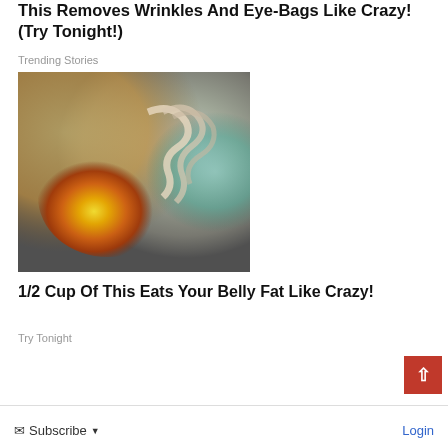This Removes Wrinkles And Eye-Bags Like Crazy! (Try Tonight!)
Trending Stories
[Figure (illustration): Medical illustration showing a cross-section of a human torso with visible belly fat, intestines, and internal organs highlighted in yellow and orange tones against a grey body silhouette]
1/2 Cup Of This Eats Your Belly Fat Like Crazy!
Try Tonight
Subscribe  Login